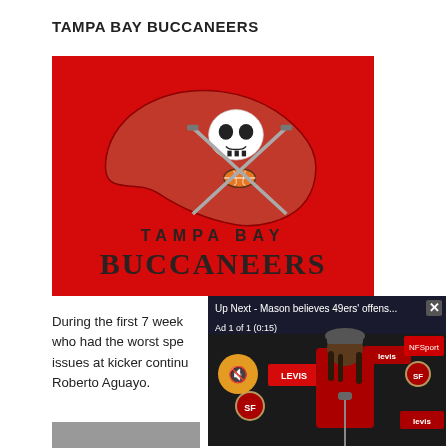TAMPA BAY BUCCANEERS
[Figure (logo): Tampa Bay Buccaneers official team logo on red background with skull and crossed swords on a flag shape, with TAMPA BAY BUCCANEERS text below]
During the first 7 week who had the worst spe issues at kicker continu Roberto Aguayo.
[Figure (screenshot): Video overlay showing 'Up Next - Mason believes 49ers\' offens...' with a close button X, Ad 1 of 1 (0:15) label, mute button, and a 49ers press conference scene with a player in red jersey at microphone with Levi's and 49ers branding visible]
[Figure (photo): Partial photo visible at bottom of page, cut off]